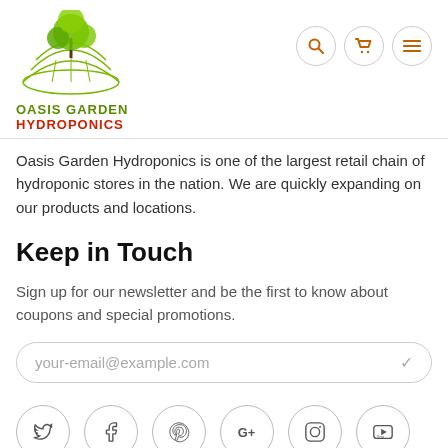[Figure (logo): Oasis Garden Hydroponics logo with a green tree growing from a globe/dome graphic, with company name below in green and red text]
Oasis Garden Hydroponics is one of the largest retail chain of hydroponic stores in the nation. We are quickly expanding on our products and locations.
Keep in Touch
Sign up for our newsletter and be the first to know about coupons and special promotions.
your-email@example.com
[Figure (infographic): Row of social media icon circles: Twitter, Facebook, Pinterest, Google+, Instagram, YouTube]